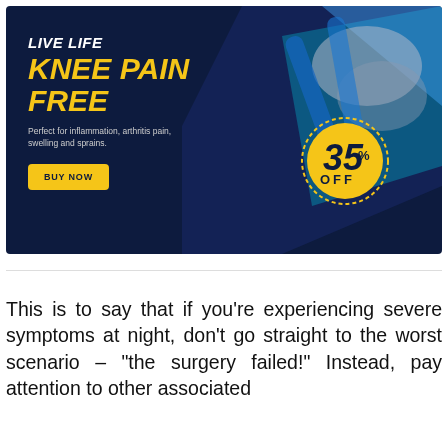[Figure (infographic): Advertisement banner with dark navy background, knee brace product image, text 'LIVE LIFE KNEE PAIN FREE', '35% OFF' badge in yellow circle, 'Perfect for inflammation, arthritis pain, swelling and sprains.', and 'BUY NOW' button]
This is to say that if you're experiencing severe symptoms at night, don't go straight to the worst scenario – "the surgery failed!" Instead, pay attention to other associated